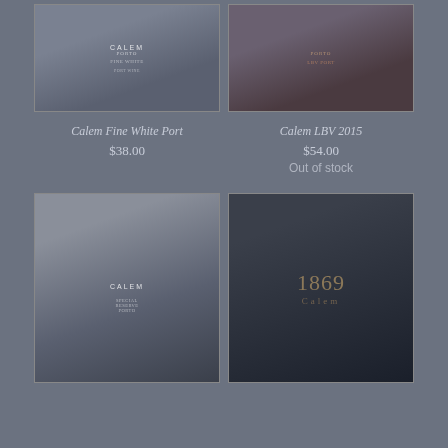[Figure (photo): Calem Fine White Port bottle photo, dark moody background]
[Figure (photo): Calem LBV 2015 port bottle photo, dark moody background]
Calem Fine White Port
$38.00
Calem LBV 2015
$54.00
Out of stock
[Figure (photo): Calem Special Reserve Porto bottle photo, dark moody background]
[Figure (photo): Calem 1869 port bottle close-up photo, very dark background]